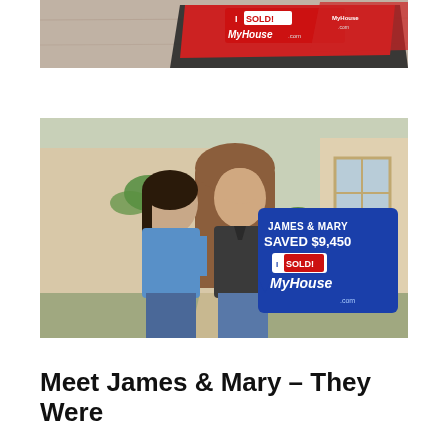[Figure (photo): Top portion of a photo showing real estate signs with 'I SOLD! MyHouse.com' branding lying on a wooden surface, partially cropped]
[Figure (photo): A couple (James and Mary) standing in front of their home holding a blue sign that reads 'JAMES & MARY SAVED $9,450 I SOLD! MyHouse.com']
Meet James & Mary – They Were